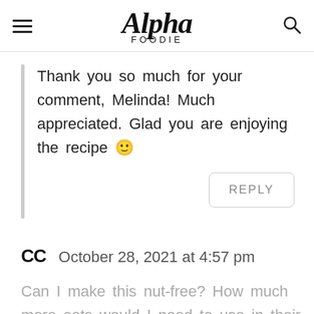Alpha Foodie
Thank you so much for your comment, Melinda! Much appreciated. Glad you are enjoying the recipe 🙂
REPLY
CC   October 28, 2021 at 4:57 pm
Can I make this nut-free? How much more oats would I need to use in their